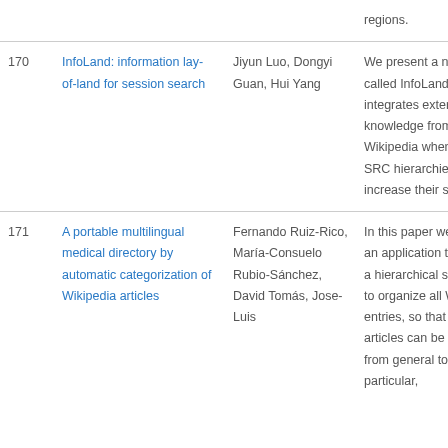| # | Title | Authors | Abstract |
| --- | --- | --- | --- |
|  |  |  | regions. |
| 170 | InfoLand: information lay-of-land for session search | Jiyun Luo, Dongyi Guan, Hui Yang | We present a new tool called InfoLand that integrates external knowledge from Wikipedia when building SRC hierarchies and increase their stability. |
| 171 | A portable multilingual medical directory by automatic categorization of Wikipedia articles | Fernando Ruiz-Rico, María-Consuelo Rubio-Sánchez, David Tomás, Jose-Luis... | In this paper we present an application that builds a hierarchical structure to organize all Wikipedia entries, so that medical articles can be reached from general to particular, |